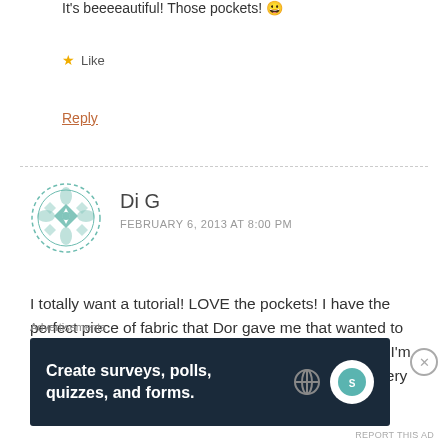It's beeeeautiful! Those pockets! 😀
★ Like
Reply
Di G
FEBRUARY 6, 2013 AT 8:00 PM
I totally want a tutorial! LOVE the pockets! I have the perfect piece of fabric that Dor gave me that wanted to turn into some sort of clothing and didn't know what. I'm still relying heavily on tutorials for my creations… every one gets a little better! 🙂
Advertisements
[Figure (other): Advertisement banner: dark navy background with text 'Create surveys, polls, quizzes, and forms.' with WordPress logo and SurveyAnyPlace logo on right side.]